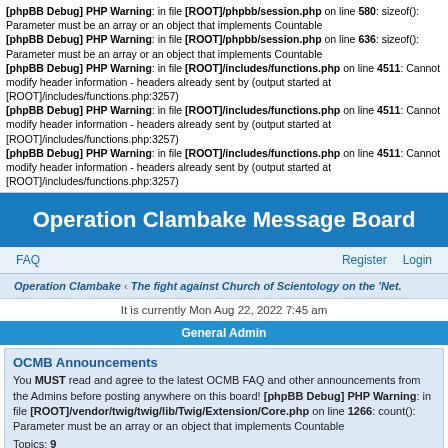[phpBB Debug] PHP Warning: in file [ROOT]/phpbb/session.php on line 580: sizeof(): Parameter must be an array or an object that implements Countable
[phpBB Debug] PHP Warning: in file [ROOT]/phpbb/session.php on line 636: sizeof(): Parameter must be an array or an object that implements Countable
[phpBB Debug] PHP Warning: in file [ROOT]/includes/functions.php on line 4511: Cannot modify header information - headers already sent by (output started at [ROOT]/includes/functions.php:3257)
[phpBB Debug] PHP Warning: in file [ROOT]/includes/functions.php on line 4511: Cannot modify header information - headers already sent by (output started at [ROOT]/includes/functions.php:3257)
[phpBB Debug] PHP Warning: in file [ROOT]/includes/functions.php on line 4511: Cannot modify header information - headers already sent by (output started at [ROOT]/includes/functions.php:3257)
Operation Clambake Message Board
FAQ    Register    Login
Operation Clambake ‹ The fight against Church of Scientology on the 'Net.
It is currently Mon Aug 22, 2022 7:45 am
General Admin
OCMB Announcements
You MUST read and agree to the latest OCMB FAQ and other announcements from the Admins before posting anywhere on this board! [phpBB Debug] PHP Warning: in file [ROOT]/vendor/twig/twig/lib/Twig/Extension/Core.php on line 1266: count(): Parameter must be an array or an object that implements Countable
Topics: 9
Guest Book
Please enter a short greeting. PS: Not for debates or replies, only short greetings from unregistered visitors. Anything else will be deleted without notice. [phpBB Debug] PHP Warning: in file